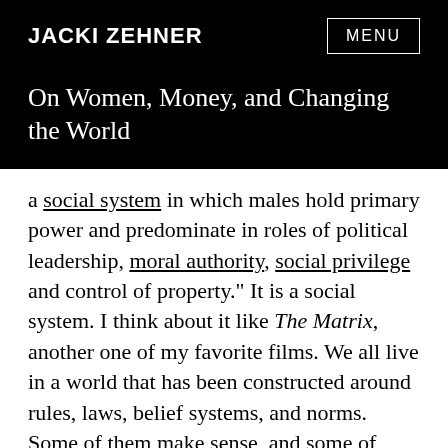JACKI ZEHNER
On Women, Money, and Changing the World
a social system in which males hold primary power and predominate in roles of political leadership, moral authority, social privilege and control of property.” It is a social system. I think about it like The Matrix, another one of my favorite films. We all live in a world that has been constructed around rules, laws, belief systems, and norms. Some of them make sense, and some of them don’t. Just because something exists does not make it right. This was the year when the patriarchal matrix we live in began to show